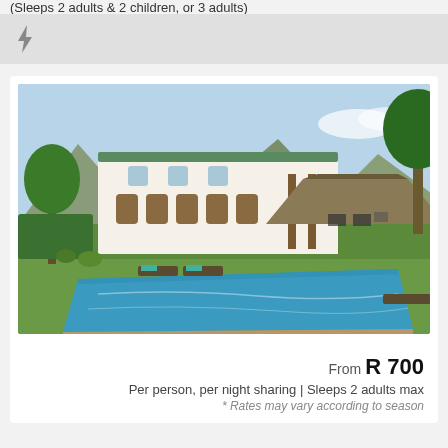(Sleeps 2 adults & 2 children, or 3 adults)
[Figure (photo): Lightning bolt / flash icon on grey background bar]
[Figure (photo): Exterior photo of a white Spanish-style villa with arched windows, lush garden, large blue swimming pool, thatched lapa/gazebo, and mountain backdrop]
From R 700
Per person, per night sharing | Sleeps 2 adults max
* Rates may vary according to season